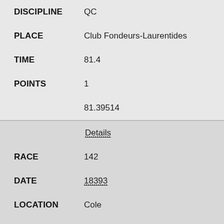DISCIPLINE: QC
PLACE: Club Fondeurs-Laurentides
TIME: 81.4
POINTS: 1
81.39514
Details
RACE: 142
DATE: 18393
LOCATION: Cole
TYPE: Hetherington